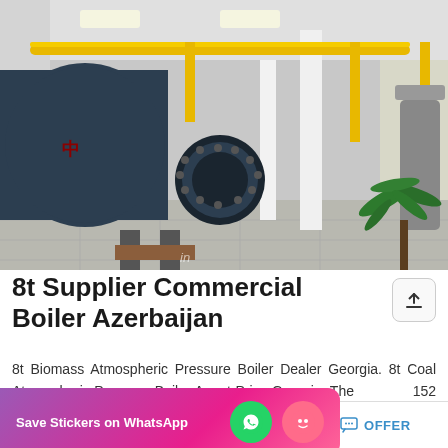[Figure (photo): Industrial boiler room with large dark blue horizontal and vertical boilers, yellow piping, white pillars, concrete floor, and a potted palm plant in the foreground right. Chinese equipment in an indoor facility.]
8t Supplier Commercial Boiler Azerbaijan
8t Biomass Atmospheric Pressure Boiler Dealer Georgia. 8t Coal Atmospheric Pressure Boiler Agent Price Georgia. The … 152 boiler tph suppliers mainly … omass fired hot water boiler f…